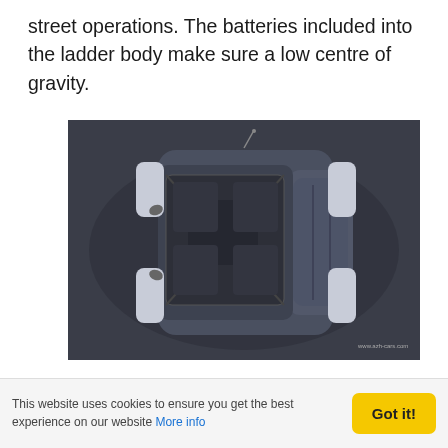street operations. The batteries included into the ladder body make sure a low centre of gravity.
[Figure (photo): Overhead/top-down view of a dark electric SUV/truck vehicle, showing the roof and hood from above against a dark background. Watermark: www.azh-cars.com]
[Figure (photo): Rear view of a dark electric SUV/truck vehicle showing the roofline and rear spoiler with red brake light strip against a light blue-grey background.]
This website uses cookies to ensure you get the best experience on our website More info Got it!